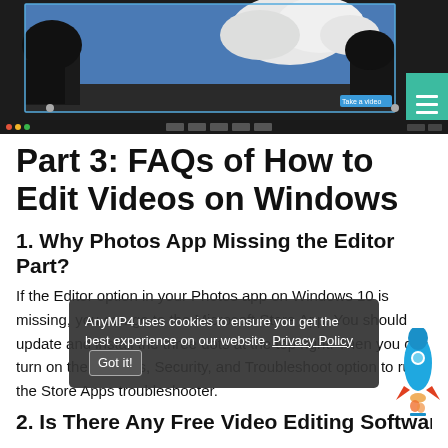[Figure (screenshot): Screenshot of a video editor application showing a video clip with trees and clouds, dark UI, with a teal hamburger menu button on the right and a taskbar at the bottom.]
Part 3: FAQs of How to Edit Videos on Windows
1. Why Photos App Missing the Editor Part?
If the Editor option in your Photos app on Windows 10 is missing, you can go to the Microsoft Store App. You should update and install the three dots at the top right. Then you can turn on the Settings, Security, and Troubleshoot option to run the Store Apps troubleshooter.
2. Is There Any Free Video Editing Software for